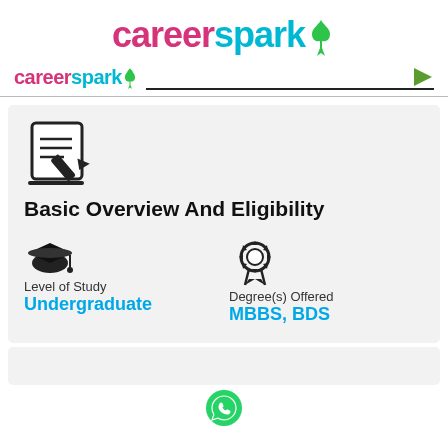careerspark
careerspark
Basic Overview And Eligibility
Level of Study
Undergraduate
Degree(s) Offered
MBBS, BDS